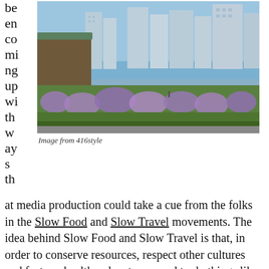be
en
co
mi
ng
up
wi
th
w
ay
s
th
[Figure (photo): Urban rooftop garden with purple wildflowers in the foreground and city skyscrapers in the background under a blue sky.]
Image from 416style
at media production could take a cue from the folks in the Slow Food and Slow Travel movements. The idea behind Slow Food and Slow Travel is that, in order to conserve resources, respect other cultures and foster a healthy planet, we need to do things like buy environmentally sound products, avoid wasting fuel, and support local